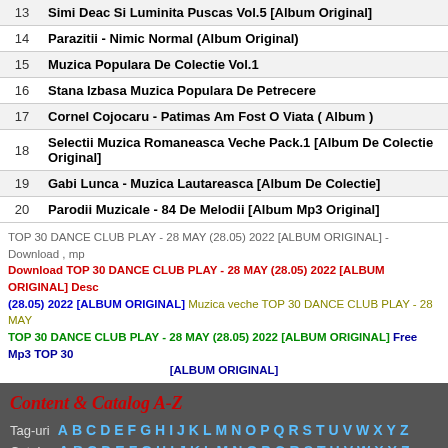| # | Title |
| --- | --- |
| 13 | Simi Deac Si Luminita Puscas Vol.5 [Album Original] |
| 14 | Parazitii - Nimic Normal (Album Original) |
| 15 | Muzica Populara De Colectie Vol.1 |
| 16 | Stana Izbasa Muzica Populara De Petrecere |
| 17 | Cornel Cojocaru - Patimas Am Fost O Viata ( Album ) |
| 18 | Selectii Muzica Romaneasca Veche Pack.1 [Album De Colectie Original] |
| 19 | Gabi Lunca - Muzica Lautareasca [Album De Colectie] |
| 20 | Parodii Muzicale - 84 De Melodii [Album Mp3 Original] |
TOP 30 DANCE CLUB PLAY - 28 MAY (28.05) 2022 [ALBUM ORIGINAL] - Download , mp Download TOP 30 DANCE CLUB PLAY - 28 MAY (28.05) 2022 [ALBUM ORIGINAL] Desc (28.05) 2022 [ALBUM ORIGINAL] Muzica veche TOP 30 DANCE CLUB PLAY - 28 MAY TOP 30 DANCE CLUB PLAY - 28 MAY (28.05) 2022 [ALBUM ORIGINAL] Free Mp3 TOP 30 [ALBUM ORIGINAL]
Content & Catalog A-Z
Tag-uri A B C D E F G H I J K L M N O P Q R S T U V W X Y Z
Catalog A B C D E F G H I J K L M N O P Q R S T U V W X Y Z
Muzica Veche » Home
Privacy Policy   DMCA Info   Copyright Policy
Copyright © 2010 - 2015 MuzicaVeche.Net | Designed by MuzicaVeche.Net